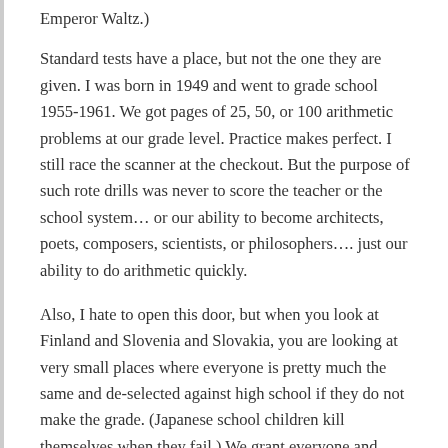Emperor Waltz.)
Standard tests have a place, but not the one they are given. I was born in 1949 and went to grade school 1955-1961. We got pages of 25, 50, or 100 arithmetic problems at our grade level. Practice makes perfect. I still race the scanner at the checkout. But the purpose of such rote drills was never to score the teacher or the school system… or our ability to become architects, poets, composers, scientists, or philosophers…. just our ability to do arithmetic quickly.
Also, I hate to open this door, but when you look at Finland and Slovenia and Slovakia, you are looking at very small places where everyone is pretty much the same and de-selected against high school if they do not make the grade. (Japanese school children kill themselves when they fail.) We grant everyone and anyone the same opportunity by right and by law. Moreover, we have something like 90,000 local school boards (https://www.nsba.org/about-us), so, really, rather than measuring "the United States of America" we should toss each local board against the national boards of other counties, and see who ranks where.